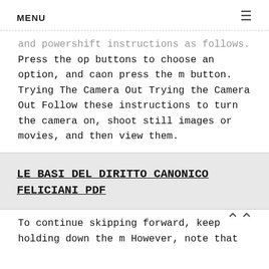MENU ☰
and powershift instructions as follows. Press the op buttons to choose an option, and caon press the m button. Trying The Camera Out Trying the Camera Out Follow these instructions to turn the camera on, shoot still images or movies, and then view them.
LE BASI DEL DIRITTO CANONICO FELICIANI PDF
To continue skipping forward, keep holding down the m However, note that